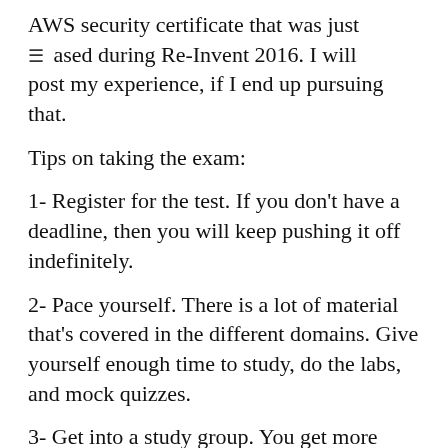AWS security certificate that was just released during Re-Invent 2016. I will post my experience, if I end up pursuing that.
Tips on taking the exam:
1- Register for the test. If you don't have a deadline, then you will keep pushing it off indefinitely.
2- Pace yourself. There is a lot of material that's covered in the different domains. Give yourself enough time to study, do the labs, and mock quizzes.
3- Get into a study group. You get more work done, when you study with like